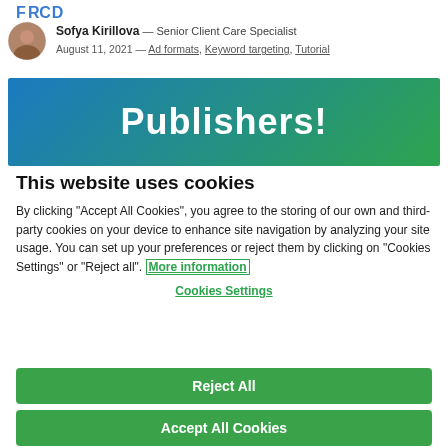FЯCD
Sofya Kirillova — Senior Client Care Specialist
August 11, 2021 — Ad formats, Keyword targeting, Tutorial
[Figure (illustration): Gradient banner with white bold text reading 'Publishers!']
This website uses cookies
By clicking "Accept All Cookies", you agree to the storing of our own and third-party cookies on your device to enhance site navigation by analyzing your site usage. You can set up your preferences or reject them by clicking on "Cookies Settings" or "Reject all". More information
Cookies Settings
Reject All
Accept All Cookies